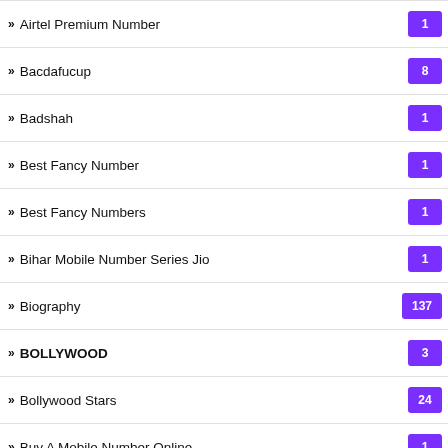Airtel Premium Number | 1
Bacdafucup | 8
Badshah | 1
Best Fancy Number | 1
Best Fancy Numbers | 1
Bihar Mobile Number Series Jio | 1
Biography | 137
BOLLYWOOD | 3
Bollywood Stars | 24
Buy A Mobile Number Online | 1
Buy Vip Mobile Number | 2
Buy Vip Mobile Number Online | 1
Buy Vip Number | 1
Buy Vip Number Online | 1